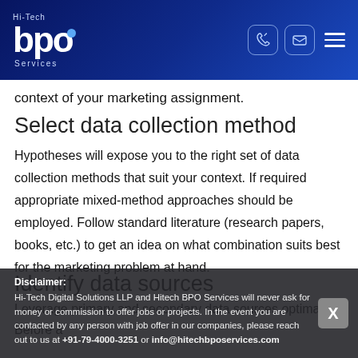[Figure (logo): Hi-Tech BPO Services logo on dark blue gradient header with phone and email icons and hamburger menu]
context of your marketing assignment.
Select data collection method
Hypotheses will expose you to the right set of data collection methods that suit your context. If required appropriate mixed-method approaches should be employed. Follow standard literature (research papers, books, etc.) to get an idea on what combination suits best for the marketing problem at hand.
Identify data sources
Leverage primary and secondary data sources optimally. Before a
Disclaimer:
Hi-Tech Digital Solutions LLP and Hitech BPO Services will never ask for money or commission to offer jobs or projects. In the event you are contacted by any person with job offer in our companies, please reach out to us at +91-79-4000-3251 or info@hitechbposervices.com